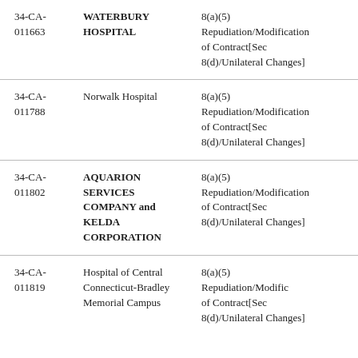| 34-CA-011663 | WATERBURY HOSPITAL | 8(a)(5) Repudiation/Modification of Contract[Sec 8(d)/Unilateral Changes] |
| 34-CA-011788 | Norwalk Hospital | 8(a)(5) Repudiation/Modification of Contract[Sec 8(d)/Unilateral Changes] |
| 34-CA-011802 | AQUARION SERVICES COMPANY and KELDA CORPORATION | 8(a)(5) Repudiation/Modification of Contract[Sec 8(d)/Unilateral Changes] |
| 34-CA-011819 | Hospital of Central Connecticut-Bradley Memorial Campus | 8(a)(5) Repudiation/Modification of Contract[Sec 8(d)/Unilateral Changes] |